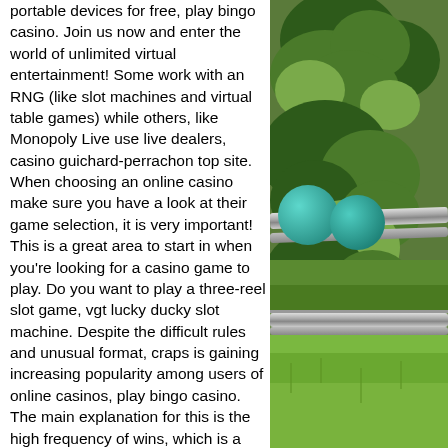portable devices for free, play bingo casino. Join us now and enter the world of unlimited virtual entertainment! Some work with an RNG (like slot machines and virtual table games) while others, like Monopoly Live use live dealers, casino guichard-perrachon top site. When choosing an online casino make sure you have a look at their game selection, it is very important! This is a great area to start in when you're looking for a casino game to play. Do you want to play a three-reel slot game, vgt lucky ducky slot machine. Despite the difficult rules and unusual format, craps is gaining increasing popularity among users of online casinos, play bingo casino. The main explanation for this is the high frequency of wins, which is a constant source of gambling emotions, and the ability to place bets in a wide range of values. Furthermore, the house also served as the banker, slot machine in bioshock 1. From Italy, Baccarat traveled to its neighbor,
[Figure (photo): Outdoor photo showing lush green foliage/hedge in background with teal/blue-green spherical objects and a metal rail bar in the foreground, suggesting a garden or outdoor sporting area.]
[Figure (photo): Partial outdoor photo showing green grass lawn, lower portion of the scene.]